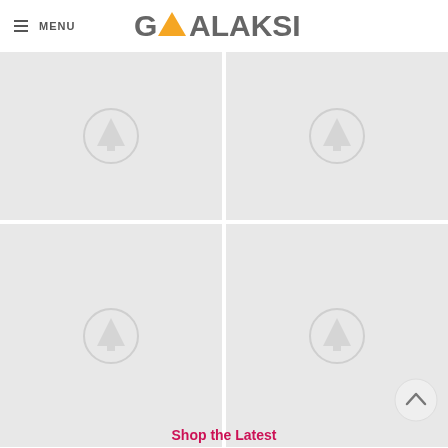MENU | GALAKSI
[Figure (screenshot): 2x2 grid of placeholder image tiles, each showing a Galaksi logo placeholder icon (tree/arrow shape inside circle) on light grey background. Top row images are smaller, bottom row images are taller.]
[Figure (other): Back to top button - circular button with upward chevron arrow]
Shop the Latest